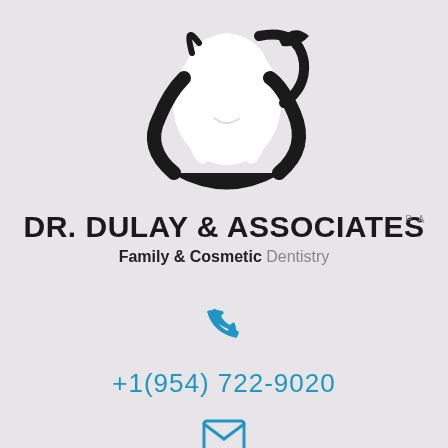[Figure (logo): Dental practice logo: white tooth shape with black decorative swirl/leaf design around it]
DR. DULAY & ASSOCIATES P.A
Family & Cosmetic Dentistry
[Figure (illustration): Blue telephone/phone handset icon]
+1(954) 722-9020
[Figure (illustration): Blue envelope/mail icon]